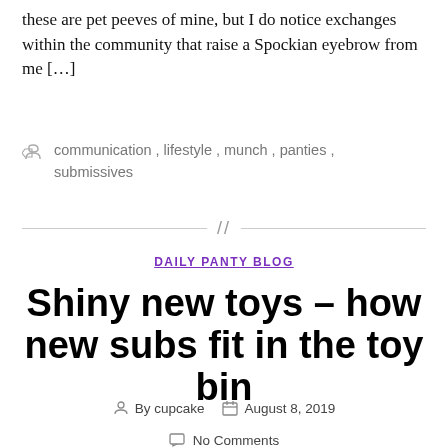these are pet peeves of mine, but I do notice exchanges within the community that raise a Spockian eyebrow from me […]
communication, lifestyle, munch, panties, submissives
//
DAILY PANTY BLOG
Shiny new toys – how new subs fit in the toy bin
By cupcake   August 8, 2019
No Comments